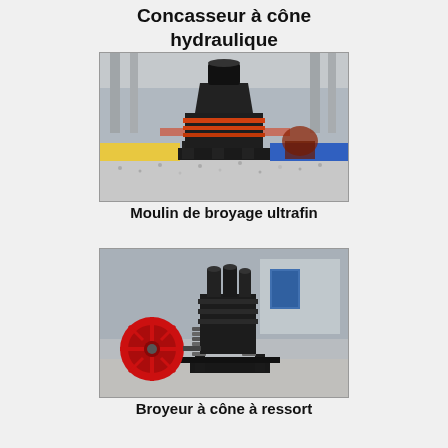Concasseur à cône hydraulique
[Figure (photo): Hydraulic cone crusher machine photographed in an industrial factory setting. Large black metal crusher with orange/red accent rings, on a gravel floor inside a warehouse.]
Moulin de broyage ultrafin
[Figure (photo): Spring cone crusher machine photographed in an industrial factory setting. Dark metal crushing machine with a distinctive large red flywheel on the left side, coil springs visible, on a concrete floor.]
Broyeur à cône à ressort